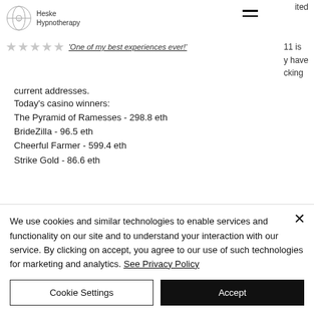Heske Hypnotherapy
ited
11 is
y have
cking
'One of my best experiences ever!'
...current addresses.
Today's casino winners:
The Pyramid of Ramesses - 298.8 eth
BrideZilla - 96.5 eth
Cheerful Farmer - 599.4 eth
Strike Gold - 86.6 eth
We use cookies and similar technologies to enable services and functionality on our site and to understand your interaction with our service. By clicking on accept, you agree to our use of such technologies for marketing and analytics. See Privacy Policy
Cookie Settings
Accept